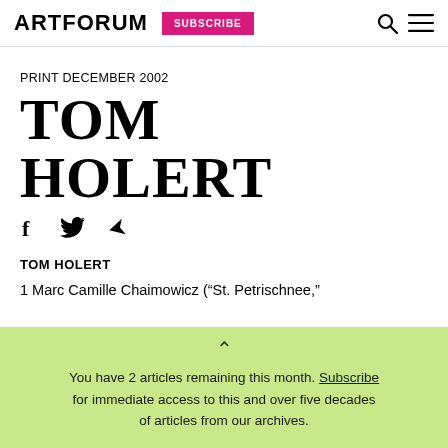ARTFORUM  SUBSCRIBE
PRINT DECEMBER 2002
TOM HOLERT
[Figure (other): Social share icons: Facebook, Twitter, Share]
TOM HOLERT
1 Marc Camille Chaimowicz (“St. Petrischnee,”
You have 2 articles remaining this month. Subscribe for immediate access to this and over five decades of articles from our archives.